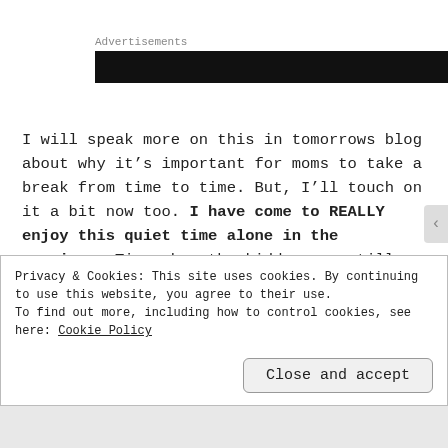[Figure (other): Advertisements label with a black banner/ad block below it]
I will speak more on this in tomorrows blog about why it’s important for moms to take a break from time to time. But, I’ll touch on it a bit now too. I have come to REALLY enjoy this quiet time alone in the mornings. Time when the kiddos are still
Privacy & Cookies: This site uses cookies. By continuing to use this website, you agree to their use.
To find out more, including how to control cookies, see here: Cookie Policy
Close and accept